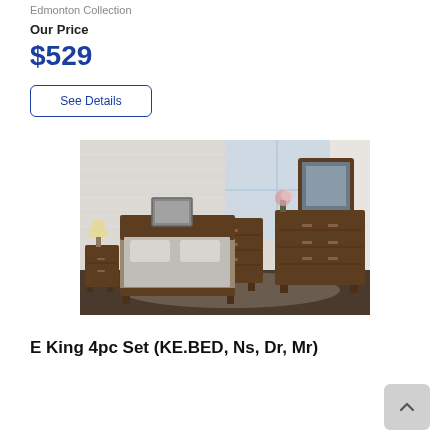Edmonton Collection
Our Price
$529
See Details
[Figure (photo): Bedroom furniture set in dark walnut/brown finish including a king bed with upholstered headboard, nightstand with lamp, chest of drawers, mirror, and large dresser arranged in a modern bedroom with light grey walls and large window.]
E King 4pc Set (KE.BED, Ns, Dr, Mr)